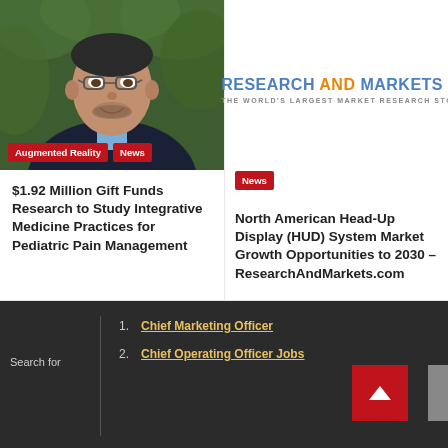[Figure (photo): Photo of a middle-aged man wearing glasses and a dark suit jacket over a blue shirt, with green foliage background]
Augmented Reality
News
$1.92 Million Gift Funds Research to Study Integrative Medicine Practices for Pediatric Pain Management
[Figure (logo): Research and Markets logo - THE WORLD'S LARGEST MARKET RESEARCH STORE]
News
North American Head-Up Display (HUD) System Market Growth Opportunities to 2030 – ResearchAndMarkets.com
Search for
1. Chief Marketing Officer
2. Chief Operating Officer Jobs